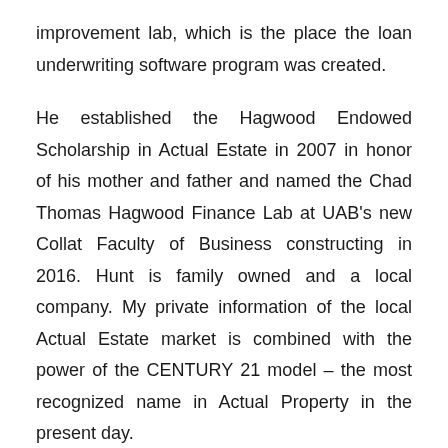improvement lab, which is the place the loan underwriting software program was created.
He established the Hagwood Endowed Scholarship in Actual Estate in 2007 in honor of his mother and father and named the Chad Thomas Hagwood Finance Lab at UAB's new Collat Faculty of Business constructing in 2016. Hunt is family owned and a local company. My private information of the local Actual Estate market is combined with the power of the CENTURY 21 model – the most recognized name in Actual Property in the present day.
Our mannequin has always and will always be consumer centered; from preliminary search setup to closing, it is